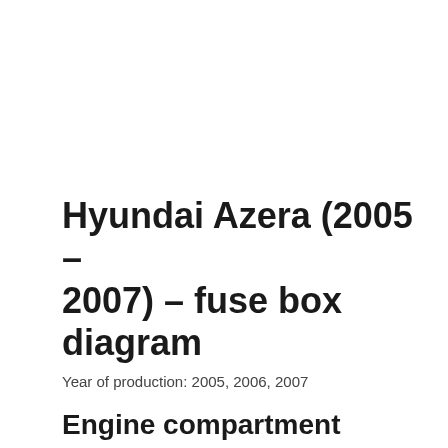Hyundai Azera (2005 – 2007) – fuse box diagram
Year of production: 2005, 2006, 2007
Engine compartment
[Figure (schematic): Engine compartment fuse box diagram for Hyundai Azera 2005-2007, showing numbered fuse slots and labeled components including ABS1 40A, ABS2 20A, 40A, H/LP LO, H/LP HI, STARTER, MAIN, RR HTD 40A, BLOWER 40A, FANRSN 40A, IGNS2 40A, ECU 30A, 30A, and numbered positions 12-25]